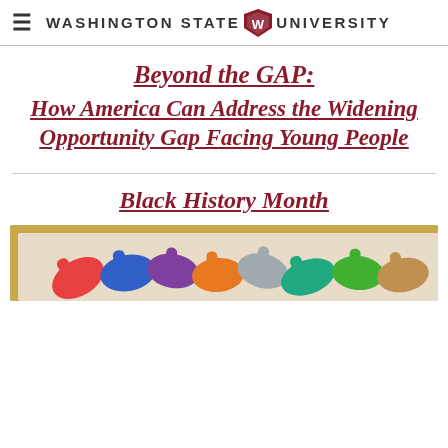Washington State University
Beyond the GAP:
How America Can Address the Widening Opportunity Gap Facing Young People
Black History Month
[Figure (photo): Colorful painted hands overlapping in a circle on a gold/yellow background, symbolizing diversity and unity for Black History Month]